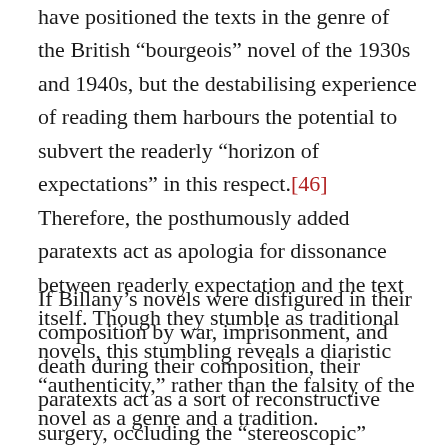have positioned the texts in the genre of the British “bourgeois” novel of the 1930s and 1940s, but the destabilising experience of reading them harbours the potential to subvert the readerly “horizon of expectations” in this respect.[46] Therefore, the posthumously added paratexts act as apologia for dissonance between readerly expectation and the text itself. Though they stumble as traditional novels, this stumbling reveals a diaristic “authenticity,” rather than the falsity of the novel as a genre and a tradition.
If Billany’s novels were disfigured in their composition by war, imprisonment, and death during their composition, their paratexts act as a sort of reconstructive surgery, occluding the “stereoscopic”